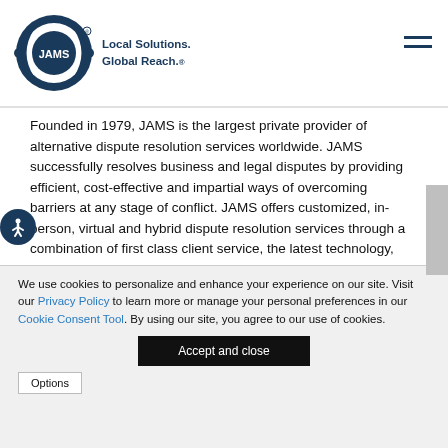[Figure (logo): JAMS logo with circular bracket design and tagline 'Local Solutions. Global Reach.']
Founded in 1979, JAMS is the largest private provider of alternative dispute resolution services worldwide. JAMS successfully resolves business and legal disputes by providing efficient, cost-effective and impartial ways of overcoming barriers at any stage of conflict. JAMS offers customized, in-person, virtual and hybrid dispute resolution services through a combination of first class client service, the latest technology, top-notch facilities, and highly
We use cookies to personalize and enhance your experience on our site. Visit our Privacy Policy to learn more or manage your personal preferences in our Cookie Consent Tool. By using our site, you agree to our use of cookies.
Accept and close
Options